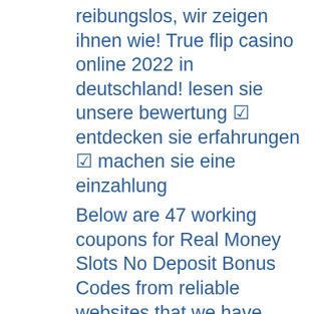reibungslos, wir zeigen ihnen wie! True flip casino online 2022 in deutschland! lesen sie unsere bewertung ☑ entdecken sie erfahrungen ☑ machen sie eine einzahlung
Below are 47 working coupons for Real Money Slots No Deposit Bonus Codes from reliable websites that we have updated for users to get maximum savings. Take action now for maximum saving as these discount codes will not valid forever. You ca n always come back for Real Money Slots No Deposit Bonus Codes because we update all the latest coupons and special deals weekly. Best $500 Free No Deposit Bonus Codes 2020-2021 CasinosAnalyzer, true flip casino.
Today's Results:
Lion Dance - 539.7 usdt